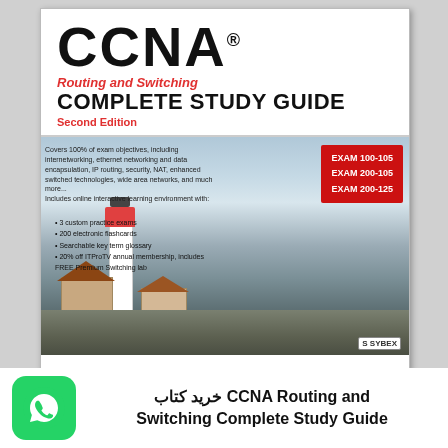[Figure (photo): Book cover of CCNA Routing and Switching Complete Study Guide Second Edition by Sybex, featuring a lighthouse scene. Red badge shows EXAM 100-105, EXAM 200-105, EXAM 200-125. Includes bullet points about online learning environment.]
خرید کتاب CCNA Routing and Switching Complete Study Guide